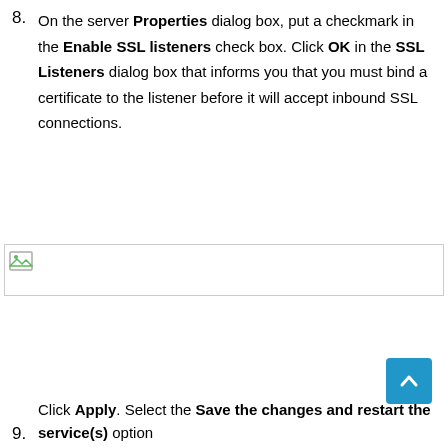8. On the server Properties dialog box, put a checkmark in the Enable SSL listeners check box. Click OK in the SSL Listeners dialog box that informs you that you must bind a certificate to the listener before it will accept inbound SSL connections.
[Figure (screenshot): Broken image placeholder with a small image icon on the left, spanning the width of the page.]
[Figure (other): Light blue scroll-to-top button with an upward-pointing chevron arrow.]
9. Click Apply. Select the Save the changes and restart the service(s) option